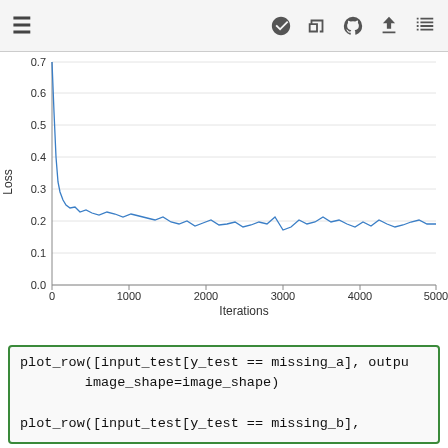≡ 🚀 ⛶ ⌂ ⬇ ≔
[Figure (continuous-plot): Training loss curve showing Loss (y-axis, 0.0 to 0.7) vs Iterations (x-axis, 0 to 5000). The loss starts near 0.7, drops sharply to ~0.25 by iteration ~200, then gradually decreases and stabilizes around 0.18-0.20 by iteration 5000 with noisy fluctuations throughout.]
plot_row([input_test[y_test == missing_a], outpu
        image_shape=image_shape)

plot_row([input_test[y_test == missing_b],